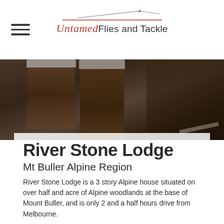Untamed Flies and Tackle
[Figure (photo): Background photo of Alpine lodge area with snow-covered wood logs and winter scenery, Mt Buller region]
River Stone Lodge
Mt Buller Alpine Region
River Stone Lodge is a 3 story Alpine house situated on over half and acre of Alpine woodlands at the base of Mount Buller, and is only 2 and a half hours drive from Melbourne.
River Stone Lodge is in the perfect location for so many attractions, Skiing during winter, amazing dry fly fishing in summer, four wheel